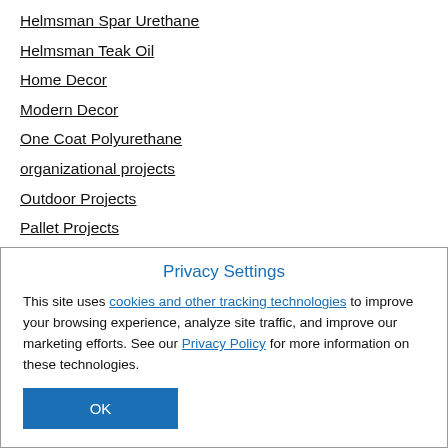Helmsman Spar Urethane
Helmsman Teak Oil
Home Decor
Modern Decor
One Coat Polyurethane
organizational projects
Outdoor Projects
Pallet Projects
Paste Finishing Wax
Pet Projects
Picture Frames
Privacy Settings
This site uses cookies and other tracking technologies to improve your browsing experience, analyze site traffic, and improve our marketing efforts. See our Privacy Policy for more information on these technologies.
OK